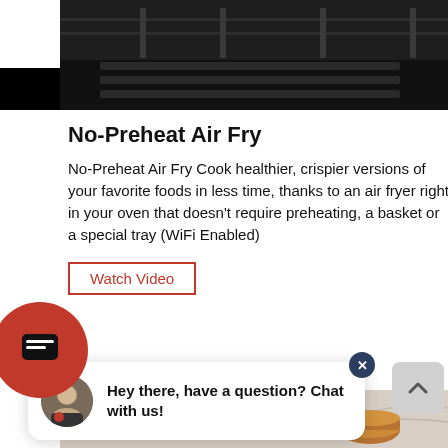[Figure (photo): Dark overhead/kitchen appliance image strip at top of page]
No-Preheat Air Fry
No-Preheat Air Fry Cook healthier, crispier versions of your favorite foods in less time, thanks to an air fryer right in your oven that doesn't require preheating, a basket or a special tray (WiFi Enabled)
Watch Video
[Figure (photo): Chat popup with agent avatar and message: Hey there, have a question? Chat with us!]
[Figure (photo): Bottom kitchen/cookware image strip]